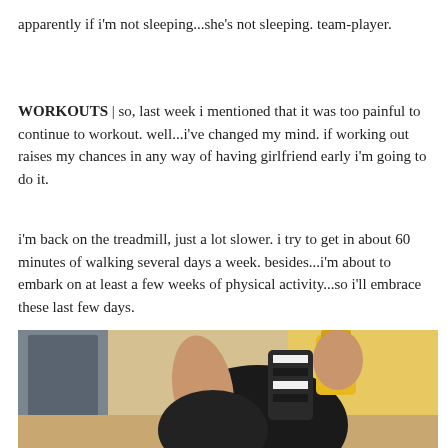apparently if i'm not sleeping...she's not sleeping. team-player.
WORKOUTS | so, last week i mentioned that it was too painful to continue to workout. well...i've changed my mind. if working out raises my chances in any way of having girlfriend early i'm going to do it.
i'm back on the treadmill, just a lot slower. i try to get in about 60 minutes of walking several days a week. besides...i'm about to embark on at least a few weeks of physical activity...so i'll embrace these last few days.
[Figure (photo): A pregnant woman in a black tank top taking a mirror selfie, holding a striped phone case, with a yellow water bottle visible. Interior room background visible in mirror.]